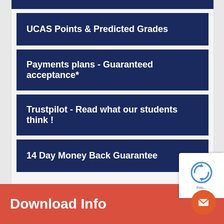UCAS Points & Predicted Grades
Payments plans - Guaranteed acceptance*
Trustpilot - Read what our students think !
14 Day Money Back Guarantee
Download Info